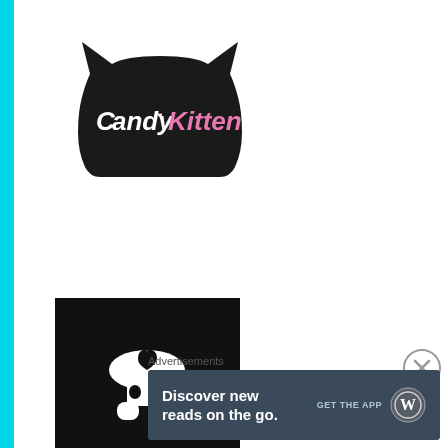[Figure (logo): CandyKitten logo: black cat-head silhouette with 'CandyKitten' text in white and pink script]
[Figure (logo): Black square logo with white mushroom/creature icon that has a heart shape on top]
[Figure (other): Circular close/dismiss button with X symbol]
Advertisements
[Figure (other): WordPress app advertisement banner: 'Discover new reads on the go.' with GET THE APP button and WordPress logo]